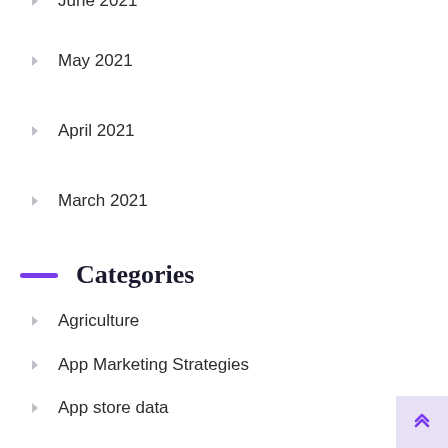June 2021
May 2021
April 2021
March 2021
Categories
Agriculture
App Marketing Strategies
App store data
App Store Insights
App Store News
App Store News Spotlight
App Store Optimization(ASO)